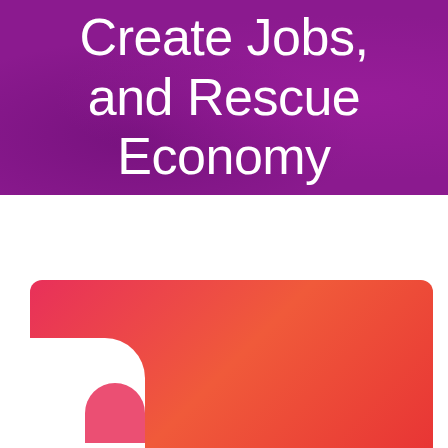Create Jobs, and Rescue Economy
< Previous   Next >
[Figure (illustration): Pink-red gradient card with white curved shape cutout at bottom left, partially visible at bottom of page]